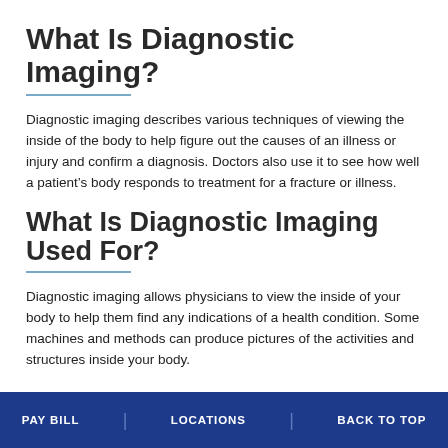What Is Diagnostic Imaging?
Diagnostic imaging describes various techniques of viewing the inside of the body to help figure out the causes of an illness or injury and confirm a diagnosis. Doctors also use it to see how well a patient's body responds to treatment for a fracture or illness.
What Is Diagnostic Imaging Used For?
Diagnostic imaging allows physicians to view the inside of your body to help them find any indications of a health condition. Some machines and methods can produce pictures of the activities and structures inside your body.
PAY BILL   LOCATIONS   BACK TO TOP